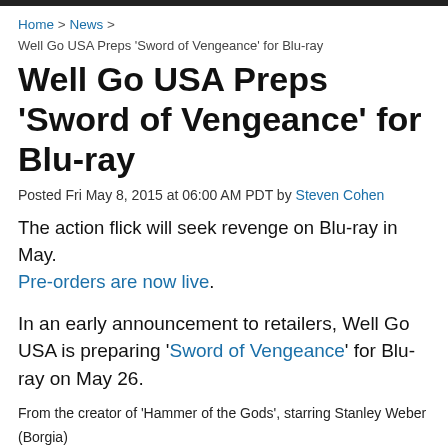Home > News > Well Go USA Preps 'Sword of Vengeance' for Blu-ray
Well Go USA Preps 'Sword of Vengeance' for Blu-ray
Posted Fri May 8, 2015 at 06:00 AM PDT by Steven Cohen
The action flick will seek revenge on Blu-ray in May. Pre-orders are now live.
In an early announcement to retailers, Well Go USA is preparing 'Sword of Vengeance' for Blu-ray on May 26.
From the creator of 'Hammer of the Gods', starring Stanley Weber (Borgia) and Annabelle Wallis (Annabelle), the subjects of a ruthless tyrant's oppression discover an unlikely freedom fighter whose code of honor demands bloody retribution. In 1066, following the brutal genocide ordered by William the Conqueror in order to